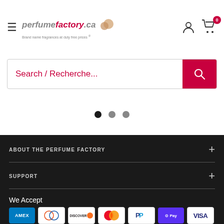[Figure (logo): Perfume Factory.ca logo with hamburger menu icon and cart/user icons in header]
Search / Recherche...
[Figure (other): Carousel navigation dots: three dots, first filled dark, second and third lighter]
ABOUT THE PERFUME FACTORY
SUPPORT
We Accept
[Figure (other): Payment method icons: AMEX, Diners Club, Discover, Mastercard, PayPal, Apple Pay (OPay), Visa]